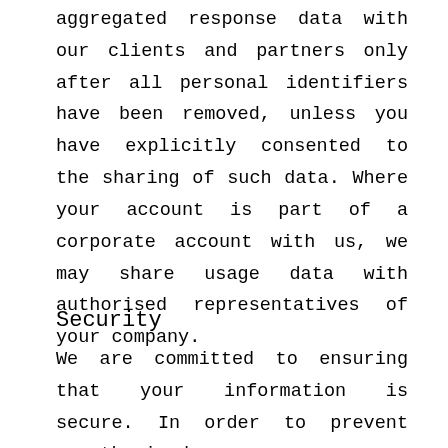aggregated response data with our clients and partners only after all personal identifiers have been removed, unless you have explicitly consented to the sharing of such data. Where your account is part of a corporate account with us, we may share usage data with authorised representatives of your company.
Security
We are committed to ensuring that your information is secure. In order to prevent unauthorised access or disclosure, we have put in place suitable physical, electronic and